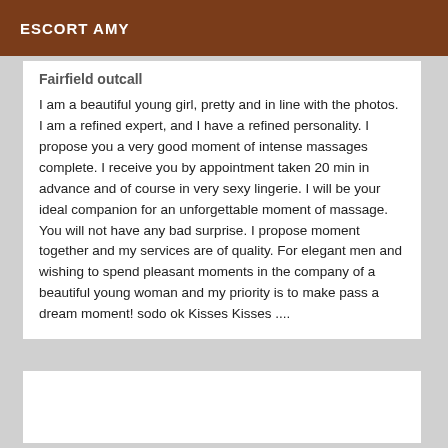ESCORT AMY
Fairfield outcall
I am a beautiful young girl, pretty and in line with the photos. I am a refined expert, and I have a refined personality. I propose you a very good moment of intense massages complete. I receive you by appointment taken 20 min in advance and of course in very sexy lingerie. I will be your ideal companion for an unforgettable moment of massage. You will not have any bad surprise. I propose moment together and my services are of quality. For elegant men and wishing to spend pleasant moments in the company of a beautiful young woman and my priority is to make pass a dream moment! sodo ok Kisses Kisses ....